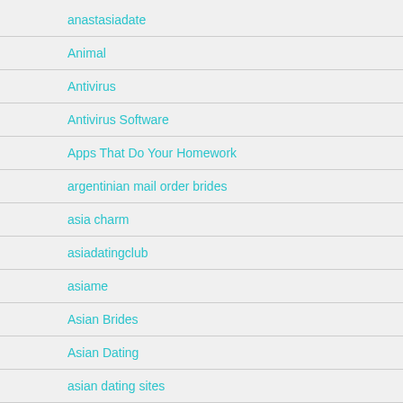anastasiadate
Animal
Antivirus
Antivirus Software
Apps That Do Your Homework
argentinian mail order brides
asia charm
asiadatingclub
asiame
Asian Brides
Asian Dating
asian dating sites